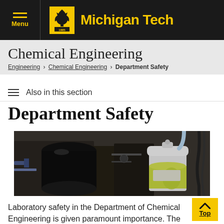Michigan Tech — Chemical Engineering — Department Safety
Chemical Engineering
Engineering > Chemical Engineering > Department Safety
Also in this section
Department Safety
[Figure (photo): Laboratory equipment photo showing chemical engineering lab apparatus including beakers with liquid and tubing in a dimly lit lab setting]
Laboratory safety in the Department of Chemical Engineering is given paramount importance. The department's Safety Committee meets regularly and